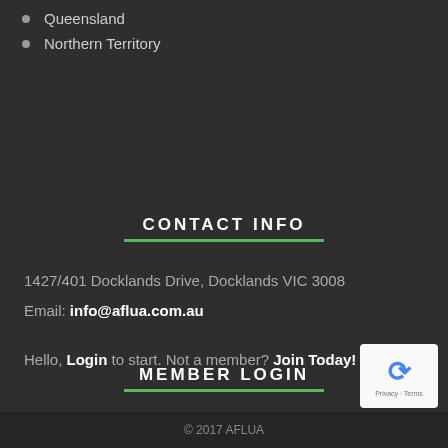Queensland
Northern Territory
CONTACT INFO
1427/401 Docklands Drive, Docklands VIC 3008
Email: info@aflua.com.au
MEMBER LOGIN
Hello, Login to start. Not a member? Join Today!
© 2017 AFLUA